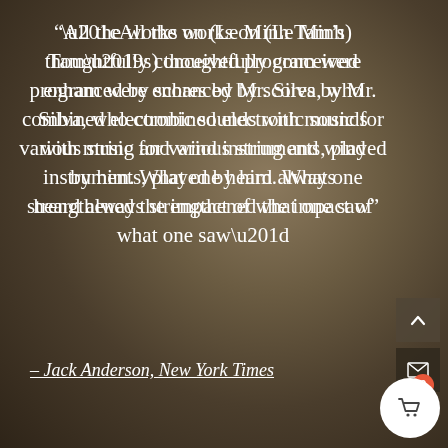“All the works on (Le Minh Tam’s) thoughtfully conceived program were enhanced by scores by Mr. Silva, who combined electronic sounds with music for various string and wind instruments, played by him. What one heard always strengthened the impact of what one saw”
– Jack Anderson, New York Times